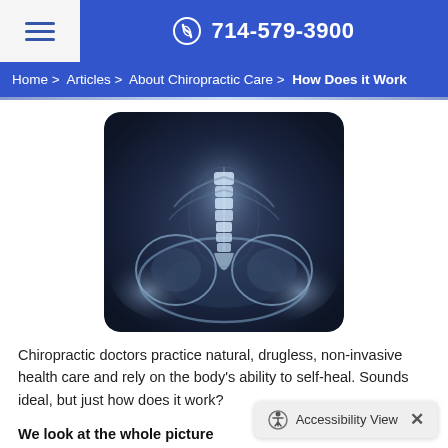714-579-3900
Home > Articles > About Chiropractic Care > How Does it Work
[Figure (photo): X-ray image of a human lumbar spine showing vertebrae, pelvis, and surrounding anatomy in blue-tinted monochrome.]
Chiropractic doctors practice natural, drugless, non-invasive health care and rely on the body's ability to self-heal. Sounds ideal, but just how does it work?
We look at the whole picture